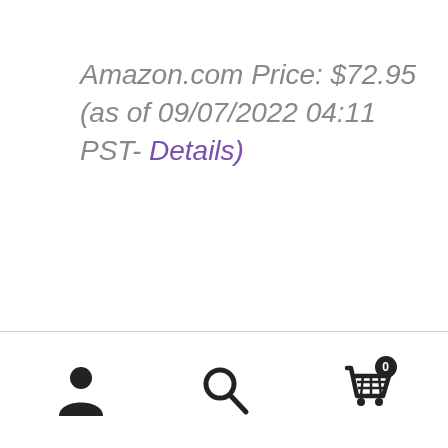Amazon.com Price: $72.95 (as of 09/07/2022 04:11 PST- Details)
[Figure (screenshot): Mobile app bottom navigation bar with three icons: user/account icon on the left, search magnifying glass icon in the center, and a shopping cart icon with badge showing '0' on the right.]